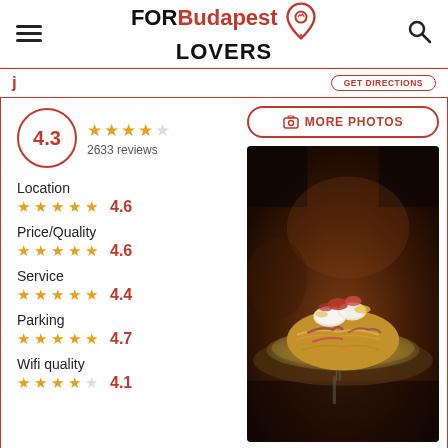[Figure (logo): FORBudapest LOVERS logo with map pin icon]
[Figure (screenshot): Partial navigation bar showing cropped restaurant name and GET DIRECTIONS button]
4.3
2633 reviews
[Figure (other): Restaurant food photo showing a plated dish on dark background]
MORE PHOTOS
Location
4.6
Price/Quality
4.6
Service
4.4
Parking
4.7
Wifi quality
4.1